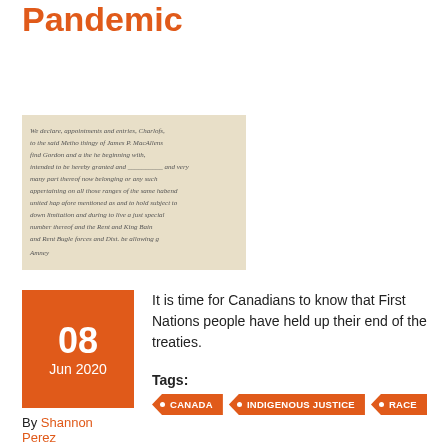Upholding Treaties During a Pandemic
[Figure (photo): Close-up of a handwritten historical treaty or legal document, showing old cursive script on aged paper]
It is time for Canadians to know that First Nations people have held up their end of the treaties.
Tags: CANADA  INDIGENOUS JUSTICE  RACE
By Shannon Perez
Read more
A Letter to My Children